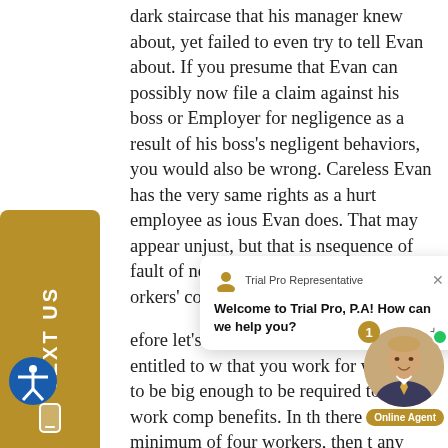dark staircase that his manager knew about, yet failed to even try to tell Evan about. If you presume that Evan can possibly now file a claim against his boss or Employer for negligence as a result of his boss's negligent behaviors, you would also be wrong. Careless Evan has the very same rights as a hurt employee as ious Evan does. That may appear unjust, but that is nsequence of fault of negligence being a non-issue orkers' compensation.
efore let's efits in FL. T pendent co not entitled to w that you work for will have to be big enough to be required to carry work comp benefits. In th there aren't a minimum of four workers, then t any isn't obligated to carry work comp age except if it is a building and constru As well, presently there are specific occupations that
[Figure (screenshot): Chat popup overlay with 'Trial Pro Representative' header showing avatar icon and X close button. Message reads: 'Welcome to Trial Pro, P.A! How can we help you?']
[Figure (infographic): Gold/tan 'TEXT US' vertical sidebar widget on the left edge with phone icon. Bottom-right corner shows an online agent bubble with a photo of a smiling man in suit, notification badge showing '1', green online dot, plus sign, and 'Online Agent' label in gold.]
[Figure (illustration): Blue circular accessibility icon (person with arms outstretched in circle) in bottom-left corner.]